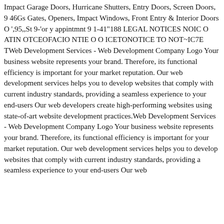Impact Garage Doors, Hurricane Shutters, Entry Doors, Screen Doors, 9 46Gs Gates, Openers, Impact Windows, Front Entry & Interior Doors O ',95,,St 9-'or y appintmnt 9 1-41"188 LEGAL NOTICES NOIC O ATIN OTCEOFACIO NTIE O O ICETONOTICE TO NOT~IC7E TWeb Development Services - Web Development Company Logo Your business website represents your brand. Therefore, its functional efficiency is important for your market reputation. Our web development services helps you to develop websites that comply with current industry standards, providing a seamless experience to your end-users Our web developers create high-performing websites using state-of-art website development practices.Web Development Services - Web Development Company Logo Your business website represents your brand. Therefore, its functional efficiency is important for your market reputation. Our web development services helps you to develop websites that comply with current industry standards, providing a seamless experience to your end-users Our web